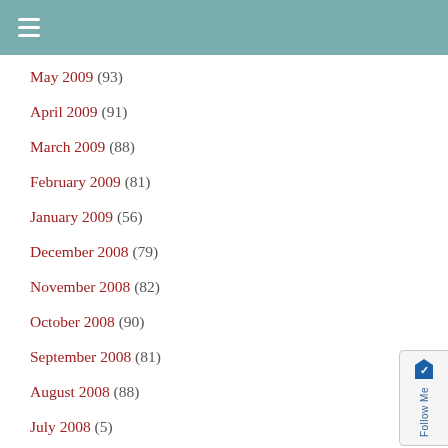May 2009 (93)
April 2009 (91)
March 2009 (88)
February 2009 (81)
January 2009 (56)
December 2008 (79)
November 2008 (82)
October 2008 (90)
September 2008 (81)
August 2008 (88)
July 2008 (5)
Read by Topic:
10 Personal Questions (2)